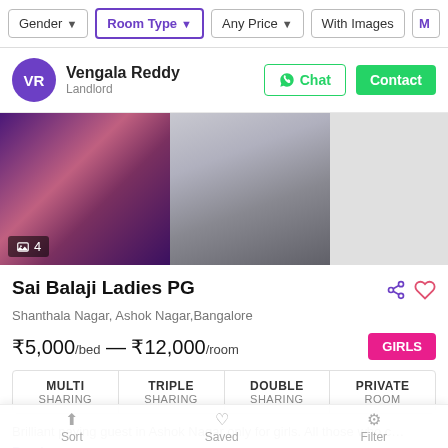Gender | Room Type | Any Price | With Images | M...
VR — Vengala Reddy, Landlord
[Figure (photo): Two blurry room photos side by side — left shows purple/pink door area, right shows a bathroom. Image count badge shows 4.]
Sai Balaji Ladies PG
Shanthala Nagar, Ashok Nagar, Bangalore
₹5,000/bed — ₹12,000/room
MULTI SHARING | TRIPLE SHARING | DOUBLE SHARING | PRIVATE ROOM
Brilliant paying guest in Ashok Nagar only for girls. All those who c… Read more
0.9 km from KG Halli